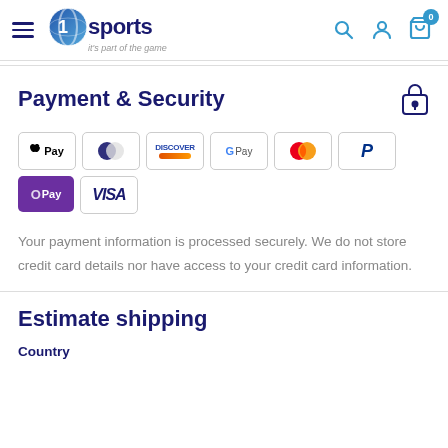T1 Sports — it's part of the game
Payment & Security
[Figure (other): Payment method logos: Apple Pay, Diners Club, Discover, Google Pay, Mastercard, PayPal, O Pay, Visa]
Your payment information is processed securely. We do not store credit card details nor have access to your credit card information.
Estimate shipping
Country